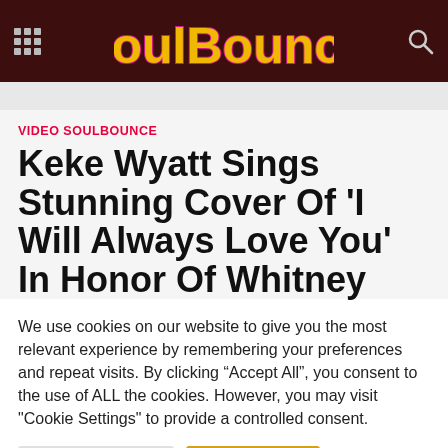SoulBounce
VIDEO SOULBOUNCE
Keke Wyatt Sings Stunning Cover Of 'I Will Always Love You' In Honor Of Whitney
We use cookies on our website to give you the most relevant experience by remembering your preferences and repeat visits. By clicking "Accept All", you consent to the use of ALL the cookies. However, you may visit "Cookie Settings" to provide a controlled consent.
Cookie Settings | Accept All